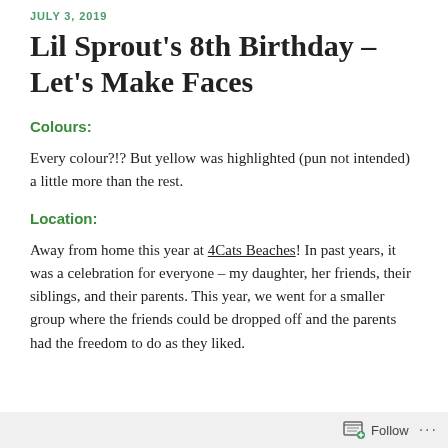JULY 3, 2019
Lil Sprout's 8th Birthday – Let's Make Faces
Colours:
Every colour?!? But yellow was highlighted (pun not intended) a little more than the rest.
Location:
Away from home this year at 4Cats Beaches! In past years, it was a celebration for everyone – my daughter, her friends, their siblings, and their parents. This year, we went for a smaller group where the friends could be dropped off and the parents had the freedom to do as they liked.
Follow ...